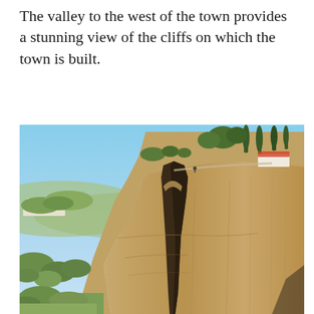The valley to the west of the town provides a stunning view of the cliffs on which the town is built.
[Figure (photo): A photograph of dramatic limestone cliffs with a deep vertical crevice. At the top of the cliffs are trees (cypress and other varieties) and a white building with a red roof. The foreground shows the valley floor with scrubby vegetation. The sky is clear blue. This appears to be the cliffs of Ronda, Spain.]